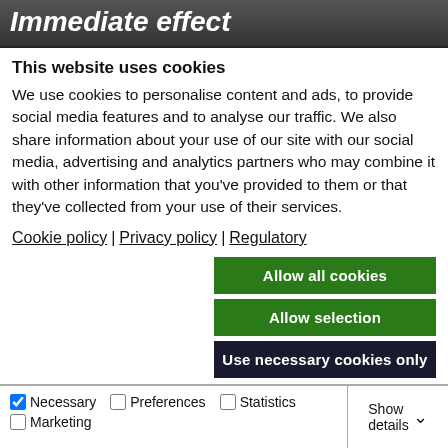Immediate effect
This website uses cookies
We use cookies to personalise content and ads, to provide social media features and to analyse our traffic. We also share information about your use of our site with our social media, advertising and analytics partners who may combine it with other information that you've provided to them or that they've collected from your use of their services.
Cookie policy | Privacy policy | Regulatory
Allow all cookies
Allow selection
Use necessary cookies only
Necessary  Preferences  Statistics  Marketing  Show details